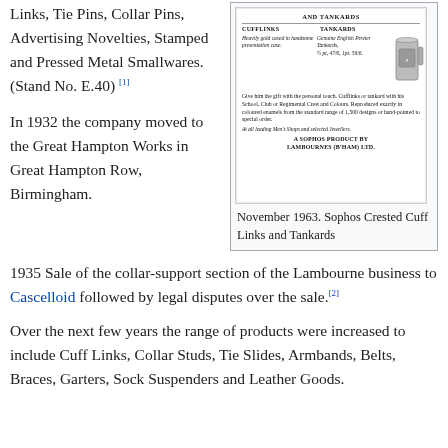Links, Tie Pins, Collar Pins, Advertising Novelties, Stamped and Pressed Metal Smallwares. (Stand No. E.40) [1]
[Figure (photo): Vintage advertisement for Sophos Crested Cuff Links and Tankards by Lambournes (B'Ham) Ltd., showing cufflinks and a pewter tankard with text about personalized crests and school/club/regiment colours.]
November 1963. Sophos Crested Cuff Links and Tankards
In 1932 the company moved to the Great Hampton Works in Great Hampton Row, Birmingham.
1935 Sale of the collar-support section of the Lambourne business to Cascelloid followed by legal disputes over the sale.[2]
Over the next few years the range of products were increased to include Cuff Links, Collar Studs, Tie Slides, Armbands, Belts, Braces, Garters, Sock Suspenders and Leather Goods.